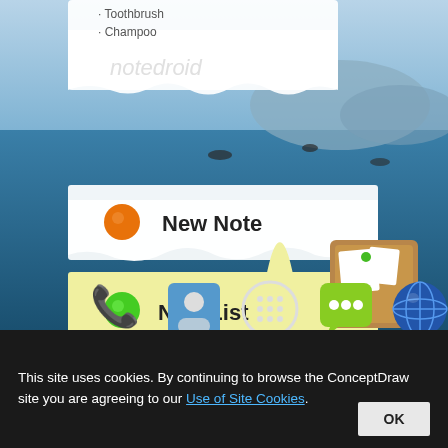[Figure (screenshot): Android phone home screen showing the NoteDroid app widget with 'New Note' (white torn paper with orange dot) and 'New List' (yellow torn paper with green dot) options, a list showing 'Toothbrush' and 'Champoo', the notedroid app label, Note Droid app icon on a corkboard, and bottom dock with phone, contacts, apps, messaging, and browser icons.]
This site uses cookies. By continuing to browse the ConceptDraw site you are agreeing to our Use of Site Cookies.